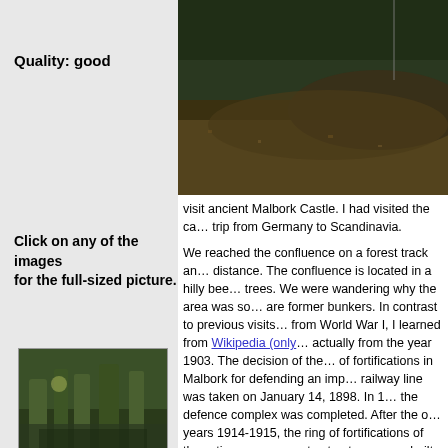[Figure (photo): Top right photo showing forest floor with fallen leaves and earthen mound]
Quality: good
Click on any of the images for the full-sized picture.
visit ancient Malbork Castle. I had visited the castle on a previous trip from Germany to Scandinavia.

We reached the confluence on a forest track and parked at some distance. The confluence is located in a hilly beech forest with old trees. We were wandering why the area was so hilly – the hills are former bunkers. In contrast to previous visits where I thought from World War I, I learned from Wikipedia (only) that they are actually from the year 1903. The decision of the building of a ring of fortifications in Malbork for defending an important bridge and railway line was taken on January 14, 1898. In 1912 the last of the defence complex was completed. After the outbreak of war in years 1914-1915, the ring of fortifications of the fortress were at time new concrete structures were built.

Although the sun was still shining a little above the horizon at the confluence such that we had hardly enough light…

CP Visit Details:
[Figure (photo): Thumbnail photo 1: forest with trees and earthen mound]
[Figure (photo): Thumbnail photo 2: forest path]
[Figure (photo): Thumbnail photo 3: forest trees]
Distance of car parking: 100 m
Driving time from the last CP: 78 minutes
Time to reach the CP from the road: 3 mi…